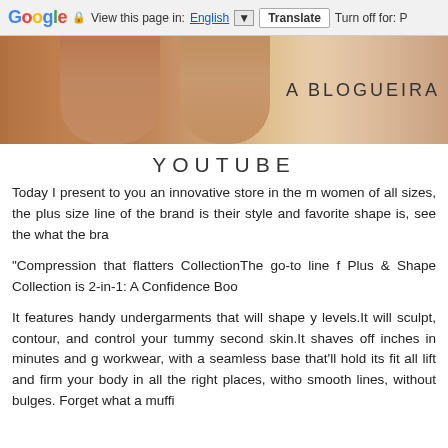Google  View this page in: English [▼]  Translate  Turn off for: P
[Figure (photo): Banner image showing skin/body with text 'A BLOGUEIRA' on the right side]
YOUTUBE
Today I present to you an innovative store in the market for women of all sizes, the plus size line of the brand is their style and favorite shape is, see the what the bra
"Compression that flatters CollectionThe go-to line f Plus & Shape Collection is 2-in-1: A Confidence Boo
It features handy undergarments that will shape y levels.It will sculpt, contour, and control your tummy second skin.It shaves off inches in minutes and g workwear, with a seamless base that'll hold its fit all lift and firm your body in all the right places, witho smooth lines, without bulges. Forget what a muffi